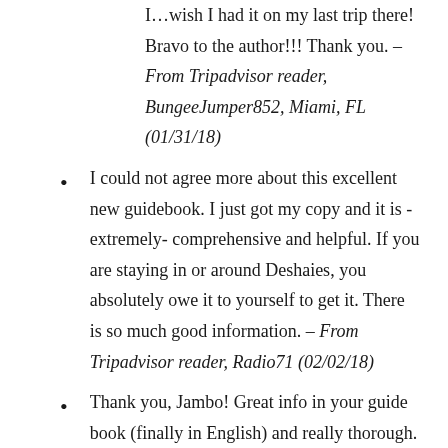I…wish I had it on my last trip there! Bravo to the author!!! Thank you. – From Tripadvisor reader, BungeeJumper852, Miami, FL (01/31/18)
I could not agree more about this excellent new guidebook. I just got my copy and it is -extremely- comprehensive and helpful. If you are staying in or around Deshaies, you absolutely owe it to yourself to get it. There is so much good information. – From Tripadvisor reader, Radio71 (02/02/18)
Thank you, Jambo! Great info in your guide book (finally in English) and really thorough. I already reserved a rental bungalow with the information inside for our upcoming trip and now have tips as well on how to get there, where to eat, what to bring and what to do in the area on Basse-Terre.